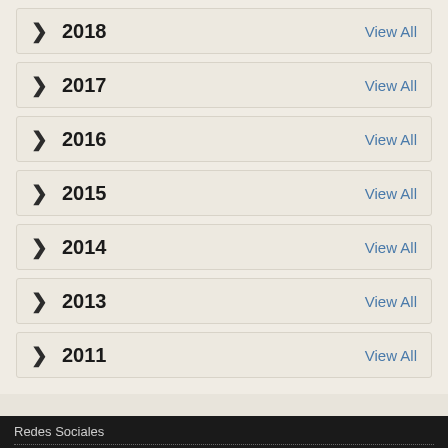2018  View All
2017  View All
2016  View All
2015  View All
2014  View All
2013  View All
2011  View All
Redes Sociales
[Figure (infographic): Social media icons: Facebook, Twitter, YouTube, Pinterest, RSS, Instagram, TikTok]
Atención Al Cliente
Piercings